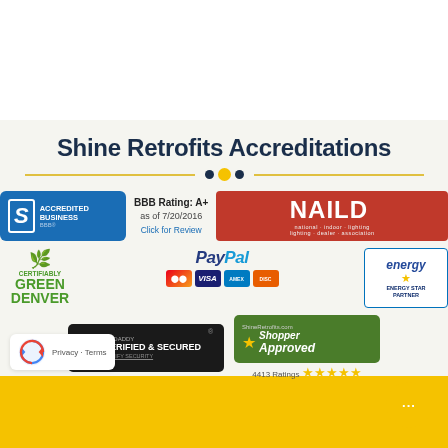Shine Retrofits Accreditations
[Figure (logo): BBB Accredited Business badge with blue background]
BBB Rating: A+ as of 7/20/2016 Click for Review
[Figure (logo): NAILD red badge logo]
[Figure (logo): Certifiably Green Denver logo]
[Figure (logo): PayPal logo with Mastercard, Visa, American Express, Discover card icons]
[Figure (logo): Energy Star Partner badge]
[Figure (logo): GoDaddy Verified & Secured badge]
[Figure (logo): ShineRetrofits.com Shopper Approved badge with 4413 ratings and 5 stars]